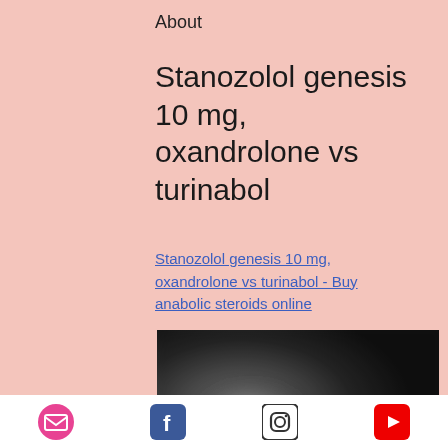About
Stanozolol genesis 10 mg, oxandrolone vs turinabol
Stanozolol genesis 10 mg, oxandrolone vs turinabol - Buy anabolic steroids online
[Figure (photo): A blurred/obscured dark image, possibly showing a person or body, content intentionally blurred]
Email | Facebook | Instagram | YouTube icons